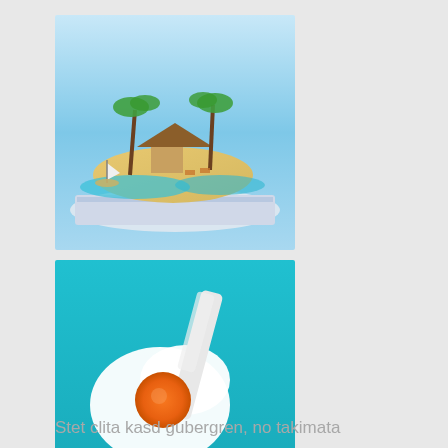[Figure (photo): 3D illustration of a tropical island with palm trees and a hut emerging from an open book or magazine, with blue water and sandy beach]
[Figure (photo): Creative photo of a fried egg with an orange yolk on a bright turquoise/cyan background, with a white utensil or spatula]
[Figure (photo): Overhead view of people brainstorming at a table covered with papers, charts, and colorful sticky notes, with hands visible]
Stet clita kasd gubergren, no takimata